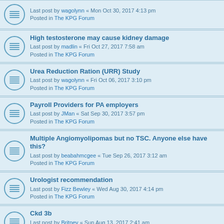Last post by wagolynn « Mon Oct 30, 2017 4:13 pm
Posted in The KPG Forum
High testosterone may cause kidney damage
Last post by madlin « Fri Oct 27, 2017 7:58 am
Posted in The KPG Forum
Urea Reduction Ration (URR) Study
Last post by wagolynn « Fri Oct 06, 2017 3:10 pm
Posted in The KPG Forum
Payroll Providers for PA employers
Last post by JMan « Sat Sep 30, 2017 3:57 pm
Posted in The KPG Forum
Multiple Angiomyolipomas but no TSC. Anyone else have this?
Last post by beabahmcgee « Tue Sep 26, 2017 3:12 am
Posted in The KPG Forum
Urologist recommendation
Last post by Fizz Bewley « Wed Aug 30, 2017 4:14 pm
Posted in The KPG Forum
Ckd 3b
Last post by Britney « Sun Aug 13, 2017 2:41 am
Posted in The KPG Forum
Drop in gfr from 60 to 36... ???
Last post by ducks « Tue Aug 08, 2017 5:09 pm
Posted in The KPG Forum
bacterial colonization of ureteric stent
Last post by ras2701 « Mon Jul 10, 2017 1:33 pm